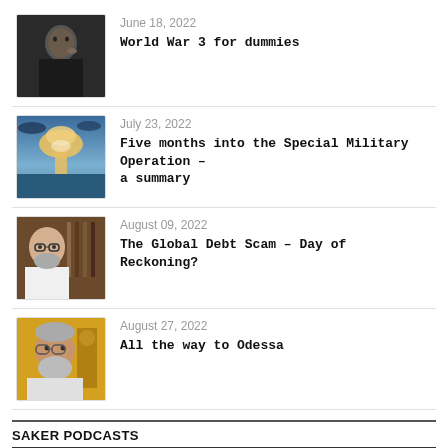June 18, 2022 — World War 3 for dummies
July 23, 2022 — Five months into the Special Military Operation – a summary
August 09, 2022 — The Global Debt Scam – Day of Reckoning?
August 27, 2022 — All the way to Odessa
SAKER PODCASTS